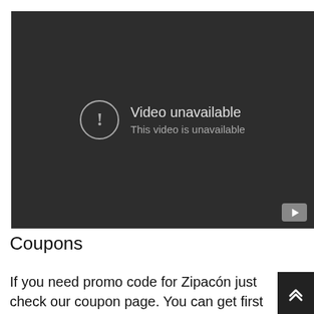[Figure (screenshot): YouTube embedded video player showing 'Video unavailable' error message on a dark background with a YouTube logo button in the bottom right corner.]
Coupons
If you need promo code for Zipacón just check our coupon page. You can get first free ride or save money